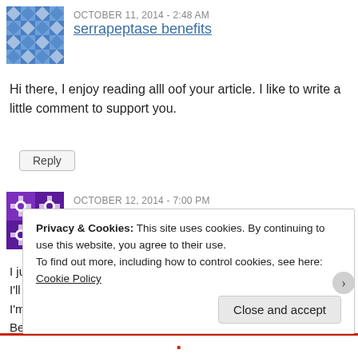[Figure (illustration): User avatar icon with blue and white diamond/cross pattern for comment 1 (serrapeptase benefits)]
OCTOBER 11, 2014 - 2:48 AM
serrapeptase benefits
Hi there, I enjoy reading alll oof your article. I like to write a little comment to support you.
Reply
[Figure (illustration): User avatar icon with purple and white star/snowflake pattern for comment 2 (hacktube.info)]
OCTOBER 12, 2014 - 7:00 PM
hacktube.info
I just like the valuable information you provide for your articles.
I'll bookmark your blog and test again here regularly.
I'm somewhat sure I'll learn many new stuff proper right here!
Best of luck for the next!
Privacy & Cookies: This site uses cookies. By continuing to use this website, you agree to their use.
To find out more, including how to control cookies, see here: Cookie Policy
Close and accept